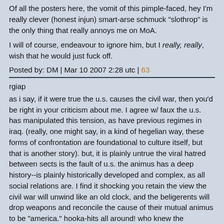Of all the posters here, the vomit of this pimple-faced, hey I'm really clever (honest injun) smart-arse schmuck "slothrop" is the only thing that really annoys me on MoA.
I will of course, endeavour to ignore him, but I really, really, wish that he would just fuck off.
Posted by: DM | Mar 10 2007 2:28 utc | 63
rgiap
as i say, if it were true the u.s. causes the civil war, then you'd be right in your criticism about me. I agree w/ faux the u.s. has manipulated this tension, as have previous regimes in iraq. (really, one might say, in a kind of hegelian way, these forms of confrontation are foundational to culture itself, but that is another story). but, it is plainly untrue the viral hatred between sects is the fault of u.s. the animus has a deep history--is plainly historically developed and complex, as all social relations are. I find it shocking you retain the view the civil war will unwind like an old clock, and the beligerents will drop weapons and reconcile the cause of their mutual animus to be "america." hooka-hits all around! who knew the abstraction of "yankee" could drive so many to murder so many more of their own kind? strange insurgency indeed.